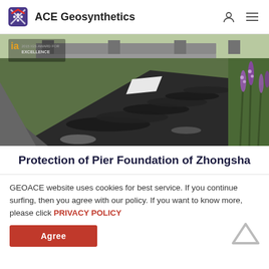ACE Geosynthetics
[Figure (photo): Aerial/ground view of a geosynthetic installation along a river embankment for pier foundation protection, with purple flowering plants in foreground, highway overpass visible in background. IA 2015 Excellence award overlay text visible top-left.]
Protection of Pier Foundation of Zhongsha
GEOACE website uses cookies for best service. If you continue surfing, then you agree with our policy. If you want to know more, please click PRIVACY POLICY
Agree